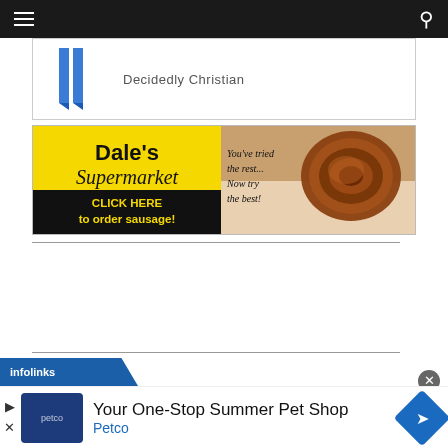Navigation bar with hamburger menu and search icon
[Figure (screenshot): Partial top advertisement showing a blue ribbon graphic and text 'Decidedly Christian']
[Figure (screenshot): Dale's Supermarket advertisement with yellow and black background. Text: Dale's Supermarket. CLICK HERE to order sausage! You've tried the rest... Now try the best! Shows image of coiled sausage.]
[Figure (screenshot): Petco advertisement banner: 'Your One-Stop Summer Pet Shop' with Petco logo and navigation icon. Infolinks label shown above.]